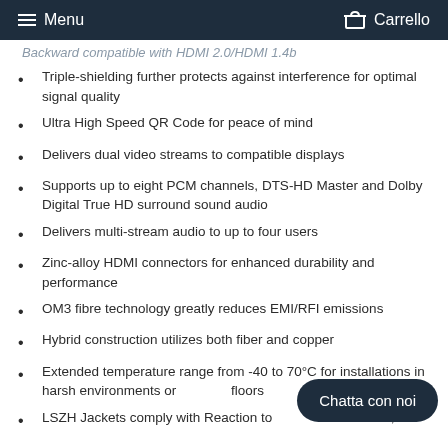Menu    Carrello
Backward compatible with HDMI 2.0/HDMI 1.4b
Triple-shielding further protects against interference for optimal signal quality
Ultra High Speed QR Code for peace of mind
Delivers dual video streams to compatible displays
Supports up to eight PCM channels, DTS-HD Master and Dolby Digital True HD surround sound audio
Delivers multi-stream audio to up to four users
Zinc-alloy HDMI connectors for enhanced durability and performance
OM3 fibre technology greatly reduces EMI/RFI emissions
Hybrid construction utilizes both fiber and copper
Extended temperature range from -40 to 70°C for installations in harsh environments or factory floors
LSZH Jackets comply with Reaction to fire class Eca, d0